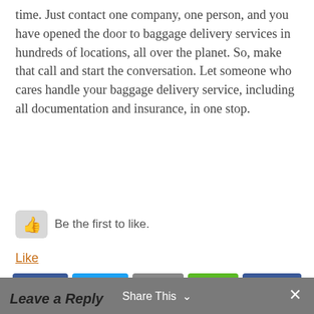time. Just contact one company, one person, and you have opened the door to baggage delivery services in hundreds of locations, all over the planet. So, make that call and start the conversation. Let someone who cares handle your baggage delivery service, including all documentation and insurance, in one stop.
[Figure (infographic): Thumbs up like button widget with text 'Be the first to like.']
Like
[Figure (infographic): Social share buttons: Facebook Share, Twitter Tweet, Email, Share, and Facebook Like 0]
Household Goods Shifting Companies Make Life Easier » « Important Overseas Parcel Shipping Considerations for Your Business
Leave a Reply   Share This   ×